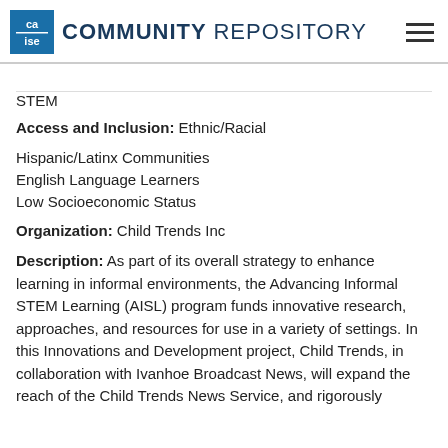COMMUNITY REPOSITORY
STEM
Access and Inclusion: Ethnic/Racial
Hispanic/Latinx Communities
English Language Learners
Low Socioeconomic Status
Organization: Child Trends Inc
Description: As part of its overall strategy to enhance learning in informal environments, the Advancing Informal STEM Learning (AISL) program funds innovative research, approaches, and resources for use in a variety of settings. In this Innovations and Development project, Child Trends, in collaboration with Ivanhoe Broadcast News, will expand the reach of the Child Trends News Service, and rigorously